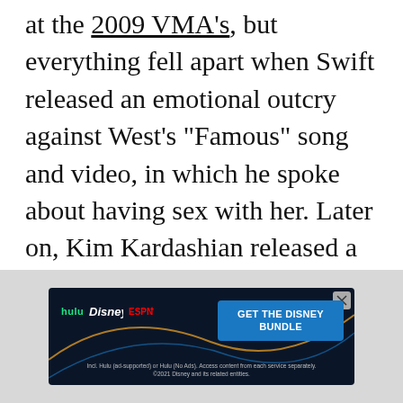at the 2009 VMA's, but everything fell apart when Swift released an emotional outcry against West's "Famous" song and video, in which he spoke about having sex with her. Later on, Kim Kardashian released a series of Snapchat videos that revealed that Swift had given West permission to do just that.
[Figure (other): Close button (X in circle) for dismissing an ad overlay]
[Figure (other): Advertisement banner for Disney Bundle featuring Hulu, Disney+, and ESPN+ logos with blue 'GET THE DISNEY BUNDLE' call-to-action button and fine print text]